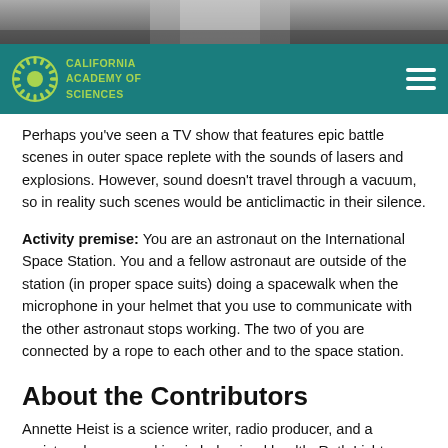[Figure (photo): Partial view of an astronaut/person in white suit or equipment, photo cropped at top of page]
California Academy of Sciences
Perhaps you've seen a TV show that features epic battle scenes in outer space replete with the sounds of lasers and explosions. However, sound doesn't travel through a vacuum, so in reality such scenes would be anticlimactic in their silence.
Activity premise: You are an astronaut on the International Space Station. You and a fellow astronaut are outside of the station (in proper space suits) doing a spacewalk when the microphone in your helmet that you use to communicate with the other astronaut stops working. The two of you are connected by a rope to each other and to the space station.
About the Contributors
Annette Heist is a science writer, radio producer, and a registered nurse working in behavioral health. Ruth Lichtman is a multi-disciplinary visual artist and filmmaker whose work has